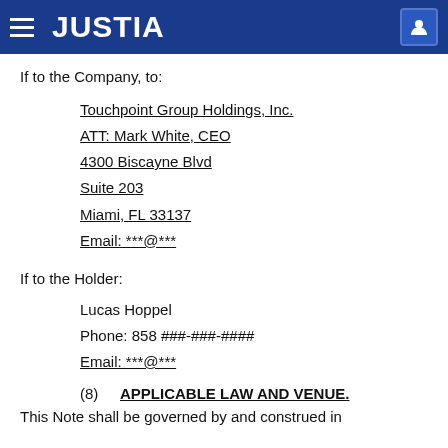JUSTIA
If to the Company, to:
Touchpoint Group Holdings, Inc.
ATT: Mark White, CEO
4300 Biscayne Blvd
Suite 203
Miami, FL 33137
Email: ***@***
If to the Holder:
Lucas Hoppel
Phone: 858 ###-###-####
Email: ***@***
(8)    APPLICABLE LAW AND VENUE.
This Note shall be governed by and construed in